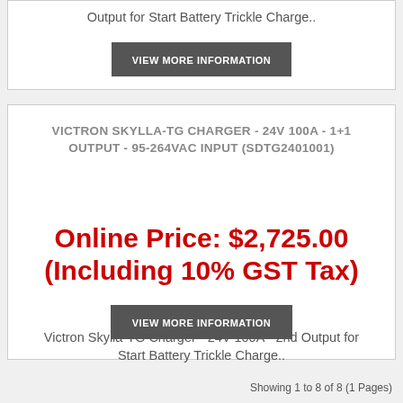Output for Start Battery Trickle Charge..
VIEW MORE INFORMATION
VICTRON SKYLLA-TG CHARGER - 24V 100A - 1+1 OUTPUT - 95-264VAC INPUT (SDTG2401001)
Online Price: $2,725.00 (Including 10% GST Tax)
Victron Skylla-TG Charger - 24V 100A - 2nd Output for Start Battery Trickle Charge..
VIEW MORE INFORMATION
Showing 1 to 8 of 8 (1 Pages)